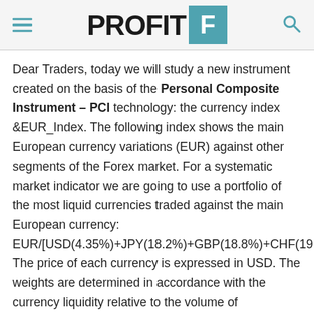PROFIT F
Dear Traders, today we will study a new instrument created on the basis of the Personal Composite Instrument – PCI technology: the currency index &EUR_Index. The following index shows the main European currency variations (EUR) against other segments of the Forex market. For a systematic market indicator we are going to use a portfolio of the most liquid currencies traded against the main European currency: EUR/[USD(4.35%)+JPY(18.2%)+GBP(18.8%)+CHF(19... The price of each currency is expressed in USD. The weights are determined in accordance with the currency liquidity relative to the volume of